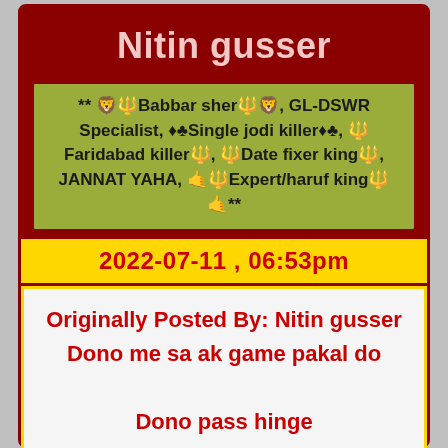Nitin gusser
** 🦁🔱Babbar sher🔱🦁, GL-DSWR Specialist, ♦♣Single jodi killer♦♣, 🔱Faridabad killer🔱, 🔱Date fixer king🔱, JANNAT YAHA, 🤙🔱Expert/haruf king🔱🤙**
2022-07-11 , 06:53pm
Originally Posted By: Nitin gusser
Dono me sa ak game pakal do

Dono pass hinge

Duari baat

6 jodi wala phala aa jay to